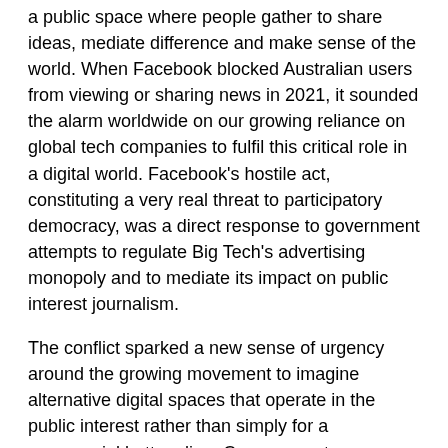a public space where people gather to share ideas, mediate difference and make sense of the world. When Facebook blocked Australian users from viewing or sharing news in 2021, it sounded the alarm worldwide on our growing reliance on global tech companies to fulfil this critical role in a digital world. Facebook's hostile act, constituting a very real threat to participatory democracy, was a direct response to government attempts to regulate Big Tech's advertising monopoly and to mediate its impact on public interest journalism.
The conflict sparked a new sense of urgency around the growing movement to imagine alternative digital spaces that operate in the public interest rather than simply for a commercial bottom line. Can we create sustainable media models to help us tackle society's problems? Can we engender a civic platform built on facts and civility? Can we control the power of our data and use it to promote the common good?